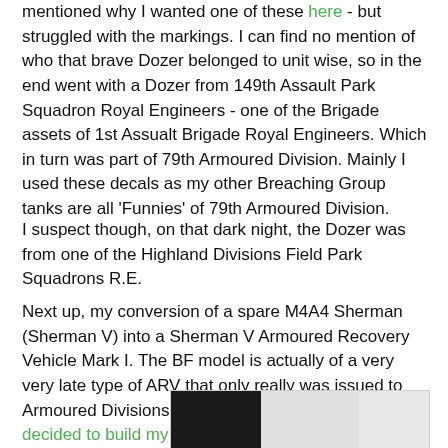mentioned why I wanted one of these here - but struggled with the markings. I can find no mention of who that brave Dozer belonged to unit wise, so in the end went with a Dozer from 149th Assault Park Squadron Royal Engineers - one of the Brigade assets of 1st Assualt Brigade Royal Engineers. Which in turn was part of 79th Armoured Division. Mainly I used these decals as my other Breaching Group tanks are all 'Funnies' of 79th Armoured Division.
I suspect though, on that dark night, the Dozer was from one of the Highland Divisions Field Park Squadrons R.E.
Next up, my conversion of a spare M4A4 Sherman (Sherman V) into a Sherman V Armoured Recovery Vehicle Mark I. The BF model is actually of a very very late type of ARV that only really was issued to Armoured Divisions in 1945 (the Mark II version). So I decided to build my own Mark I version.
[Figure (photo): Partial photograph of a model vehicle, showing dark and light sections against a white background]